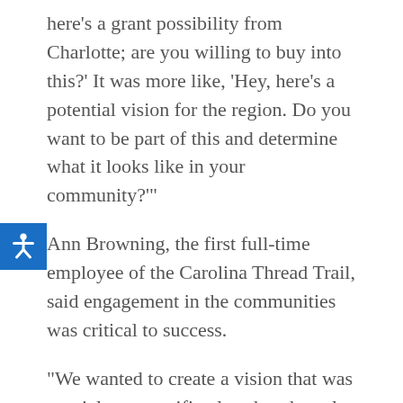here's a grant possibility from Charlotte; are you willing to buy into this?' It was more like, 'Hey, here's a potential vision for the region. Do you want to be part of this and determine what it looks like in your community?'
Ann Browning, the first full-time employee of the Carolina Thread Trail, said engagement in the communities was critical to success.
“We wanted to create a vision that was special to a specific place but then also connected,” Browning said. “Stakeholders came together and worked on their county’s plans and then talked to neighboring